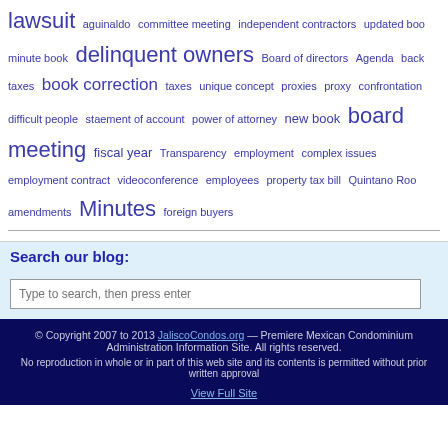lawsuit aguinaldo committee meeting independent contractors updated boo minute book delinquent owners Board of directors Agenda back taxes book correction taxes unique concept proxies proxy confrontation difficult people staement of account power of attorney new book board meeting fiscal year Transparency employment complex issues employment contract videoconference employees property tax bill Quintano Roo amendments Minutes foreign buyers
Search our blog:
Type to search, then press enter
© Copyright 2007 to 2013 JaliscoCondos.org — Premiere Mexican Condominium Administration Information Site. All rights reserved. No reproduction in whole or in part of this web site and its contents is permitted without prior written approval View Full Site